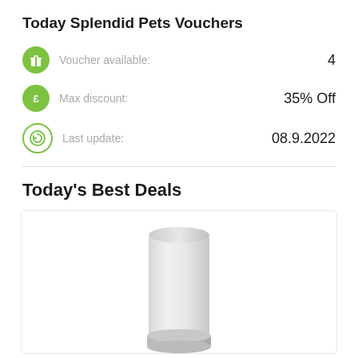Today Splendid Pets Vouchers
Voucher available: 4
Max discount: 35% Off
Last update: 08.9.2022
Today's Best Deals
[Figure (photo): A cylindrical white/light grey product container photographed from the front on a white background.]